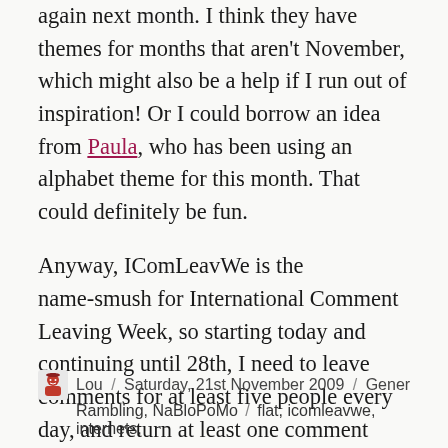again next month.  I think they have themes for months that aren't November, which might also be a help if I run out of inspiration!  Or I could borrow an idea from Paula, who has been using an alphabet theme for this month.  That could definitely be fun.
Anyway, IComLeavWe is the name-smush for International Comment Leaving Week, so starting today and continuing until 28th, I need to leave comments for at least five people every day, and return at least one comment (assuming I have any here to answer back to, I guess!).  Off I go!
Lou / Saturday, 21st November 2009 / General Rambling, NaBloPoMo / flat, icomleavwe, internets,